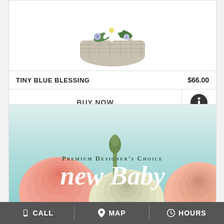[Figure (photo): Flower arrangement in a white wicker basket with blue and white flowers including a gerbera daisy, partially cropped at top]
TINY BLUE BLESSING
$66.00
BUY NOW
[Figure (photo): Premium Designer's Choice New Baby floral arrangement showing pink ranunculus, white roses, and peach gerbera on a soft teal/mint background with script text 'new Baby' and 'Premium Designer's Choice']
CALL   MAP   HOURS